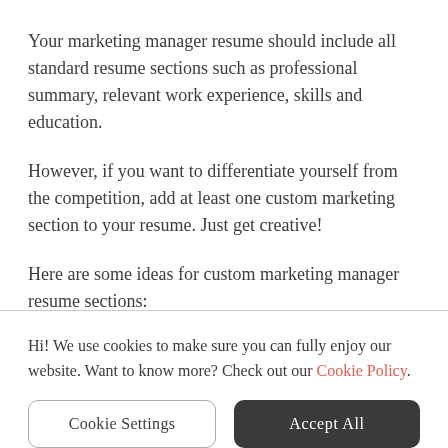Your marketing manager resume should include all standard resume sections such as professional summary, relevant work experience, skills and education.
However, if you want to differentiate yourself from the competition, add at least one custom marketing section to your resume. Just get creative!
Here are some ideas for custom marketing manager resume sections:
Hi! We use cookies to make sure you can fully enjoy our website. Want to know more? Check out our Cookie Policy.